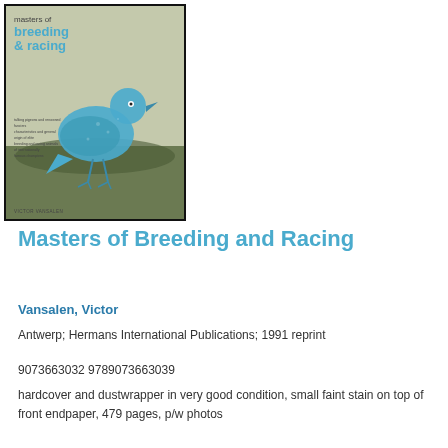[Figure (illustration): Book cover of 'Masters of Breeding and Racing' by Victor Vansalen showing a teal/blue pigeon silhouette on a muted green-brown background, published by Hermans International Publications]
Masters of Breeding and Racing
Vansalen, Victor
Antwerp; Hermans International Publications; 1991 reprint
9073663032 9789073663039
hardcover and dustwrapper in very good condition, small faint stain on top of front endpaper, 479 pages, p/w photos